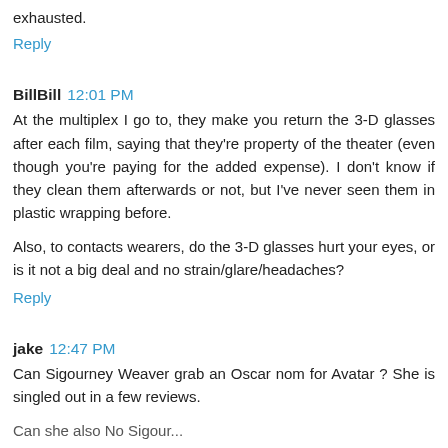exhausted.
Reply
BillBill 12:01 PM
At the multiplex I go to, they make you return the 3-D glasses after each film, saying that they're property of the theater (even though you're paying for the added expense). I don't know if they clean them afterwards or not, but I've never seen them in plastic wrapping before.
Also, to contacts wearers, do the 3-D glasses hurt your eyes, or is it not a big deal and no strain/glare/headaches?
Reply
jake 12:47 PM
Can Sigourney Weaver grab an Oscar nom for Avatar ? She is singled out in a few reviews.
Can she also No Sigour...